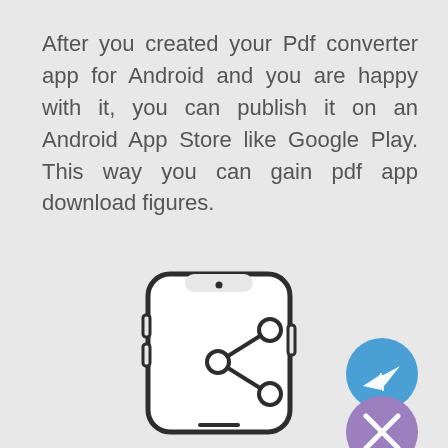After you created your Pdf converter app for Android and you are happy with it, you can publish it on an Android App Store like Google Play. This way you can gain pdf app download figures.
[Figure (illustration): A smartphone outline icon with a share/network icon (three circles connected by lines in a triangular pattern) overlaid on the screen. Two UI buttons appear in the bottom-right corner: a blue circle with a paper plane (Telegram-style send icon) and a purple circle with an X (close icon).]